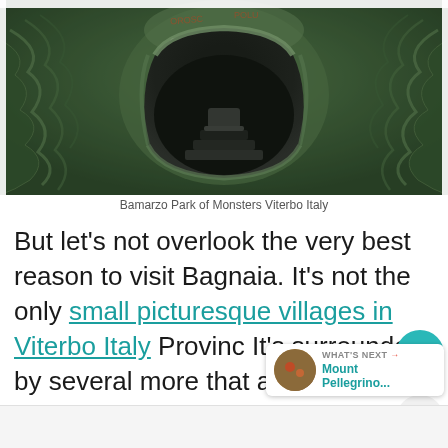[Figure (photo): Stone monster face sculpture at Bamarzo Park of Monsters, Viterbo, Italy. Large open mouth carved into weathered green stone with moss, steps leading inside.]
Bamarzo Park of Monsters Viterbo Italy
But let's not overlook the very best reason to visit Bagnaia. It's not the only small picturesque villages in Viterbo Italy Province It's surrounded by several more that are al deserving of a visit.